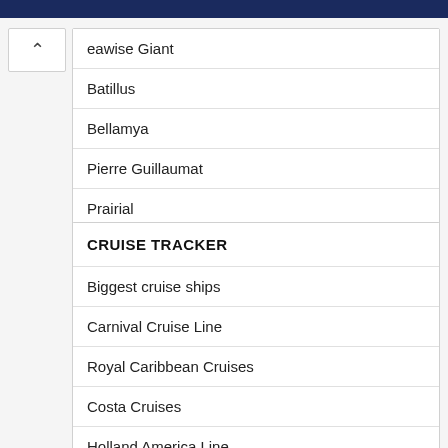eawise Giant
Batillus
Bellamya
Pierre Guillaumat
Prairial
CRUISE TRACKER
Biggest cruise ships
Carnival Cruise Line
Royal Caribbean Cruises
Costa Cruises
Holland America Line
MSC Cruises